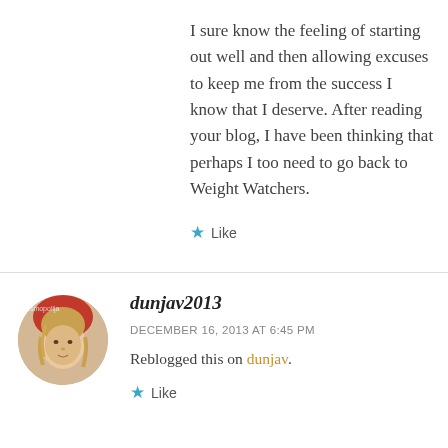I sure know the feeling of starting out well and then allowing excuses to keep me from the success I know that I deserve. After reading your blog, I have been thinking that perhaps I too need to go back to Weight Watchers.
★ Like
dunjav2013
DECEMBER 16, 2013 AT 6:45 PM
Reblogged this on dunjav.
★ Like